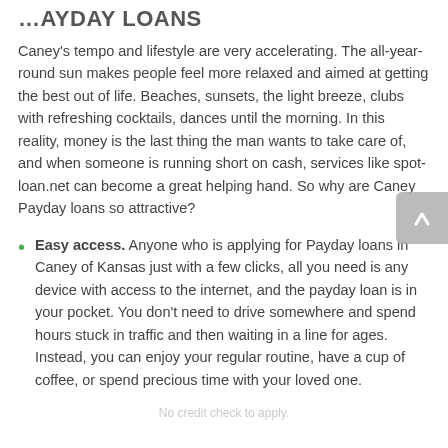…AYDAY LOANS
Caney's tempo and lifestyle are very accelerating. The all-year-round sun makes people feel more relaxed and aimed at getting the best out of life. Beaches, sunsets, the light breeze, clubs with refreshing cocktails, dances until the morning. In this reality, money is the last thing the man wants to take care of, and when someone is running short on cash, services like spot-loan.net can become a great helping hand. So why are Caney Payday loans so attractive?
Easy access. Anyone who is applying for Payday loans in Caney of Kansas just with a few clicks, all you need is any device with access to the internet, and the payday loan is in your pocket. You don't need to drive somewhere and spend hours stuck in traffic and then waiting in a line for ages. Instead, you can enjoy your regular routine, have a cup of coffee, or spend precious time with your loved one.